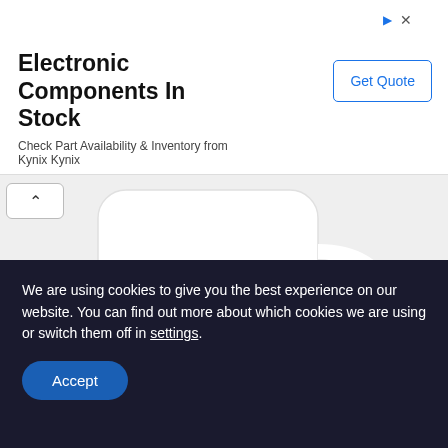[Figure (screenshot): Advertisement banner for Kynix electronic components with title 'Electronic Components In Stock', subtitle 'Check Part Availability & Inventory from Kynix Kynix', and a 'Get Quote' button]
[Figure (photo): White coffee mug showing handwritten text 'Nobody does today.' and bold text 'Thanks to vaccines!!' with 'outbreaknewstoday.com' below]
NEWSLETTER
Subscribe to our periodic
We are using cookies to give you the best experience on our website. You can find out more about which cookies we are using or switch them off in settings.